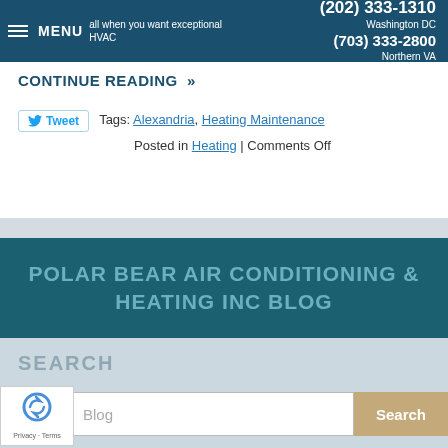MENU | call when you want exceptional HVAC | (202) 333-1310 Washington DC | (703) 333-2800 Northern VA
CONTINUE READING »
Tags: Alexandria, Heating Maintenance
Posted in Heating | Comments Off
POLAR BEAR AIR CONDITIONING & HEATING INC BLOG
SEARCH
Blog